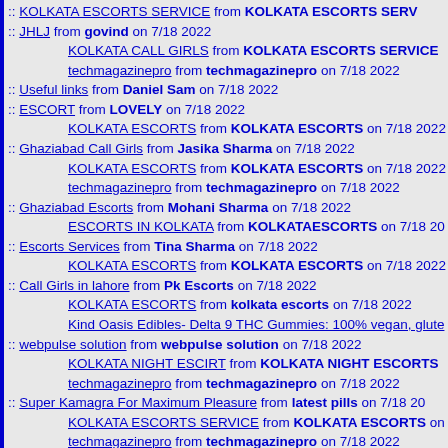:: KOLKATA ESCORTS SERVICE from KOLKATA ESCORTS SERV...
:: JHLJ from govind on 7/18 2022
KOLKATA CALL GIRLS from KOLKATA ESCORTS SERVICE
techmagazinepro from techmagazinepro on 7/18 2022
:: Useful links from Daniel Sam on 7/18 2022
:: ESCORT from LOVELY on 7/18 2022
KOLKATA ESCORTS from KOLKATA ESCORTS on 7/18 2022
:: Ghaziabad Call Girls from Jasika Sharma on 7/18 2022
KOLKATA ESCORTS from KOLKATA ESCORTS on 7/18 2022
techmagazinepro from techmagazinepro on 7/18 2022
:: Ghaziabad Escorts from Mohani Sharma on 7/18 2022
ESCORTS IN KOLKATA from KOLKATAESCORTS on 7/18 20...
:: Escorts Services from Tina Sharma on 7/18 2022
KOLKATA ESCORTS from KOLKATA ESCORTS on 7/18 2022
:: Call Girls in lahore from Pk Escorts on 7/18 2022
KOLKATA ESCORTS from kolkata escorts on 7/18 2022
Kind Oasis Edibles- Delta 9 THC Gummies: 100% vegan, glute...
:: webpulse solution from webpulse solution on 7/18 2022
KOLKATA NIGHT ESCIRT from KOLKATA NIGHT ESCORTS
techmagazinepro from techmagazinepro on 7/18 2022
:: Super Kamagra For Maximum Pleasure from latest pills on 7/18 20...
KOLKATA ESCORTS SERVICE from KOLKATA ESCORTS on...
techmagazinepro from techmagazinepro on 7/18 2022
:: Mahipalpur Escort Service from heenaescortservice on 7/18 2022
techmagazinepro from techmagazinepro on 7/18 2022
KOLKATA ESCORTS from KOLKATA ESCORTS on 7/18 2022
Goa Escorts from Sippi Behl on 8/18 2022
:: Best Air conditioners from Best Air conditioners on 7/18 2022
KOLKATA ESCORTS from kolkata escorts on 7/18 2022
techmagazinepro from techmagazinepro on 7/18 2022